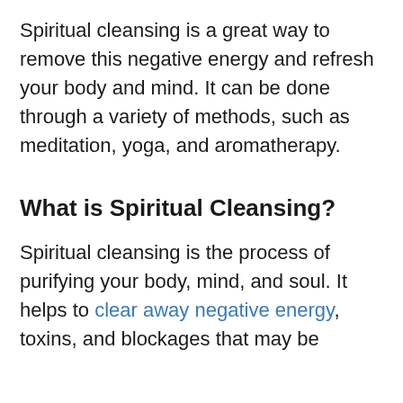Spiritual cleansing is a great way to remove this negative energy and refresh your body and mind. It can be done through a variety of methods, such as meditation, yoga, and aromatherapy.
What is Spiritual Cleansing?
Spiritual cleansing is the process of purifying your body, mind, and soul. It helps to clear away negative energy, toxins, and blockages that may be